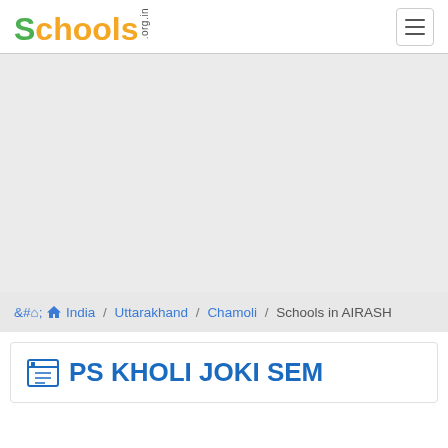Schools.org.in
[Figure (other): Advertisement / blank gray area]
India / Uttarakhand / Chamoli / Schools in AIRASH
PS KHOLI JOKI SEM